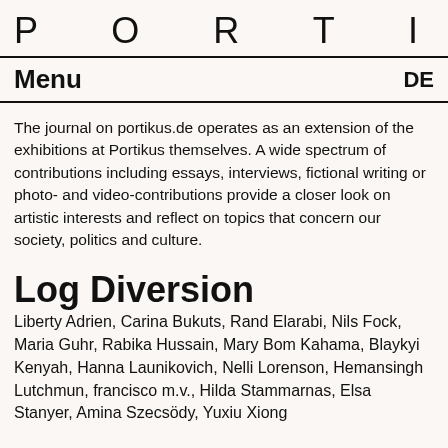PORTIKUS
Menu   DE
The journal on portikus.de operates as an extension of the exhibitions at Portikus themselves. A wide spectrum of contributions including essays, interviews, fictional writing or photo- and video-contributions provide a closer look on artistic interests and reflect on topics that concern our society, politics and culture.
Log Diversion
Liberty Adrien, Carina Bukuts, Rand Elarabi, Nils Fock, Maria Guhr, Rabika Hussain, Mary Bom Kahama, Blaykyi Kenyah, Hanna Launikovich, Nelli Lorenson, Hemansingh Lutchmun, francisco m.v., Hilda Stammarnas, Elsa Stanyer, Amina Szecsödy, Yuxiu Xiong